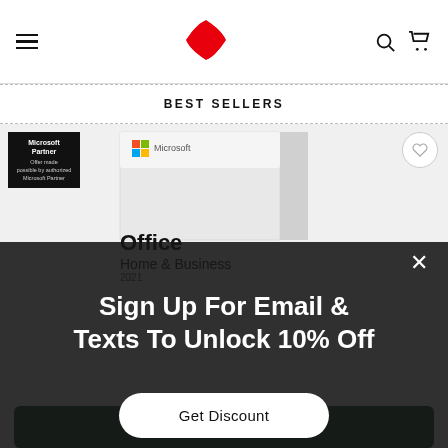[Figure (logo): Red spinning shuriken/fan logo in page header]
BEST SELLERS
[Figure (screenshot): Microsoft Office Home & Business 2021 product box with Microsoft Partner badge, heart wishlist button, and product icons (Word, Outlook, Teams)]
Sign Up For Email & Texts To Unlock 10% Off
Get Discount
ADD TO CART ($124.99)